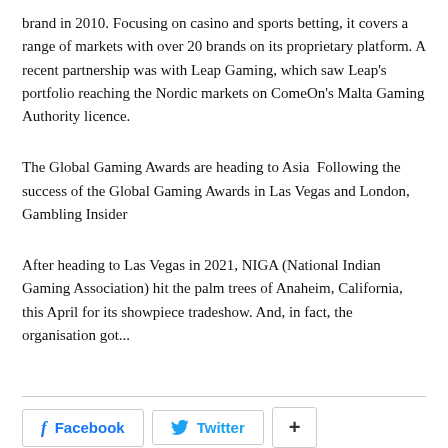brand in 2010. Focusing on casino and sports betting, it covers a range of markets with over 20 brands on its proprietary platform. A recent partnership was with Leap Gaming, which saw Leap's portfolio reaching the Nordic markets on ComeOn's Malta Gaming Authority licence.
The Global Gaming Awards are heading to Asia  Following the success of the Global Gaming Awards in Las Vegas and London, Gambling Insider
After heading to Las Vegas in 2021, NIGA (National Indian Gaming Association) hit the palm trees of Anaheim, California, this April for its showpiece tradeshow. And, in fact, the organisation got...
Facebook  Twitter  +